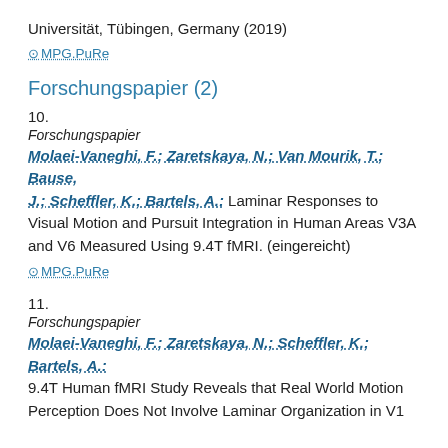Universität, Tübingen, Germany (2019)
MPG.PuRe
Forschungspapier (2)
10.
Forschungspapier
Molaei-Vaneghi, F.; Zaretskaya, N.; Van Mourik, T.; Bause, J.; Scheffler, K.; Bartels, A.: Laminar Responses to Visual Motion and Pursuit Integration in Human Areas V3A and V6 Measured Using 9.4T fMRI. (eingereicht)
MPG.PuRe
11.
Forschungspapier
Molaei-Vaneghi, F.; Zaretskaya, N.; Scheffler, K.; Bartels, A.: 9.4T Human fMRI Study Reveals that Real World Motion Perception Does Not Involve Laminar Organization in V1